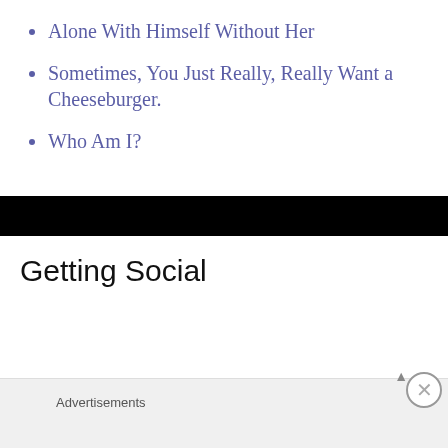Alone With Himself Without Her
Sometimes, You Just Really, Really Want a Cheeseburger.
Who Am I?
Getting Social
Advertisements